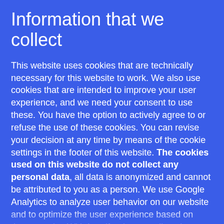Information that we collect
This website uses cookies that are technically necessary for this website to work. We also use cookies that are intended to improve your user experience, and we need your consent to use these. You have the option to actively agree to or refuse the use of these cookies. You can revise your decision at any time by means of the cookie settings in the footer of this website. The cookies used on this website do not collect any personal data, all data is anonymized and cannot be attributed to you as a person. We use Google Analytics to analyze user behavior on our website and to optimize the user experience based on those results. With Leadfeeder we collect the behavioral data of our website visitors. Anonymized IP addresses are used to determine the company and the geographic location of the website visitor. Private IP addresses are not collected. In the list below, we explain which data are recorded by the cookies and